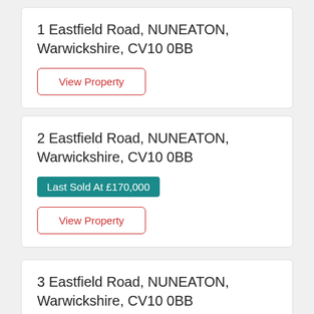1 Eastfield Road, NUNEATON, Warwickshire, CV10 0BB
View Property
2 Eastfield Road, NUNEATON, Warwickshire, CV10 0BB
Last Sold At £170,000
View Property
3 Eastfield Road, NUNEATON, Warwickshire, CV10 0BB